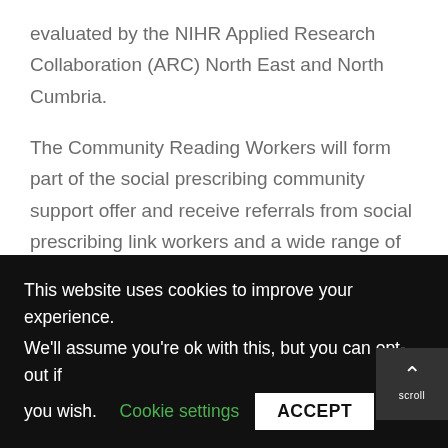evaluated by the NIHR Applied Research Collaboration (ARC) North East and North Cumbria.
The Community Reading Workers will form part of the social prescribing community support offer and receive referrals from social prescribing link workers and a wide range of professionals working with people who may benefit from reading, access to stories and access to social networks.
Watch this news piece from ITV
This website uses cookies to improve your experience. We'll assume you're ok with this, but you can opt-out if you wish. Cookie settings ACCEPT